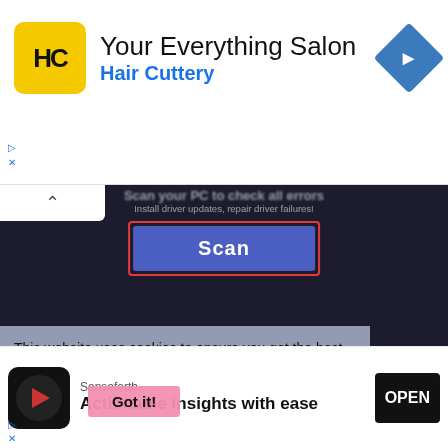[Figure (screenshot): Advertisement banner for Hair Cuttery salon with logo, title 'Your Everything Salon', subtitle 'Hair Cuttery', and navigation arrow icon]
[Figure (screenshot): Screenshot of a driver scan software showing a 'Scan' button highlighted in red border, with icons for Peripheral, Pre-loaded, and Tools categories at the bottom, on a dark background]
This website uses cookies to ensure you get the best experience on our website.
Privacy Policy
Got it!
9. Clean the C-Drive of your computer.
[Figure (screenshot): Advertisement for Senseforth app with logo, headline 'Actionable insights with ease', brand name 'Senseforth', and OPEN button]